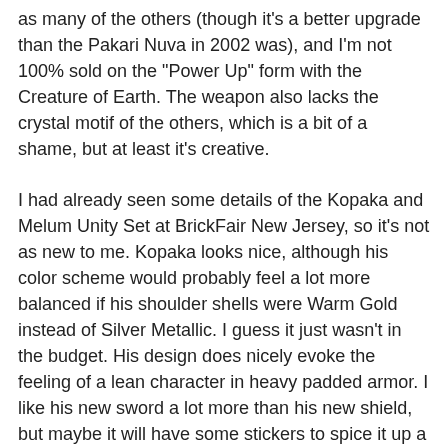as many of the others (though it's a better upgrade than the Pakari Nuva in 2002 was), and I'm not 100% sold on the "Power Up" form with the Creature of Earth. The weapon also lacks the crystal motif of the others, which is a bit of a shame, but at least it's creative.
I had already seen some details of the Kopaka and Melum Unity Set at BrickFair New Jersey, so it's not as new to me. Kopaka looks nice, although his color scheme would probably feel a lot more balanced if his shoulder shells were Warm Gold instead of Silver Metallic. I guess it just wasn't in the budget. His design does nicely evoke the feeling of a lean character in heavy padded armor. I like his new sword a lot more than his new shield, but maybe it will have some stickers to spice it up a bit. He was cool when he had a spear, but since Pohatu and Gali now both have spears a sword offers more variety. And it does feel distinct from Tahu's.
The Toa in general have longer torsos than they did previously, and I'm still not 100% sure how I feel about that. I definitely am not too fond of how all the characters use friction joints in their ankles, because in my opinion it messes up the proportions of the foot. I understand why they did it, but perhaps a newer foot